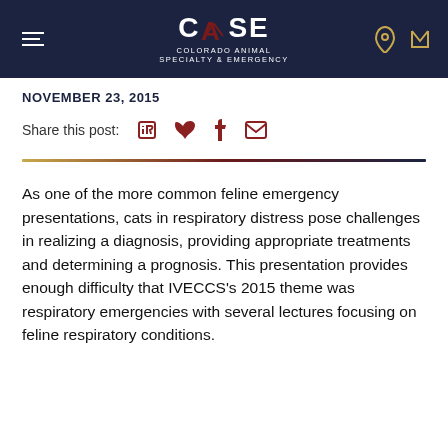CASE COLORADO ANIMAL SPECIALTY & EMERGENCY
NOVEMBER 23, 2015
Share this post:
As one of the more common feline emergency presentations, cats in respiratory distress pose challenges in realizing a diagnosis, providing appropriate treatments and determining a prognosis. This presentation provides enough difficulty that IVECCS's 2015 theme was respiratory emergencies with several lectures focusing on feline respiratory conditions.